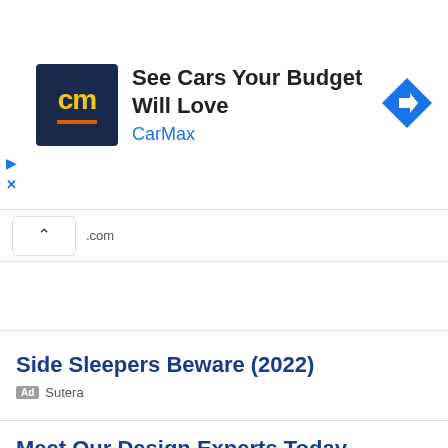[Figure (screenshot): CarMax advertisement banner with logo, headline 'See Cars Your Budget Will Love', brand name 'CarMax' in blue, and a blue diamond navigation arrow icon on the right. Play and close buttons on the left side.]
.com
Side Sleepers Beware (2022)
Ad Sutera
Meet Our Design Experts Today
Ad KH Interior Designer
Sleeping With Roaches? Do This
Ad BugMD
If Not Now, When? Apply Today